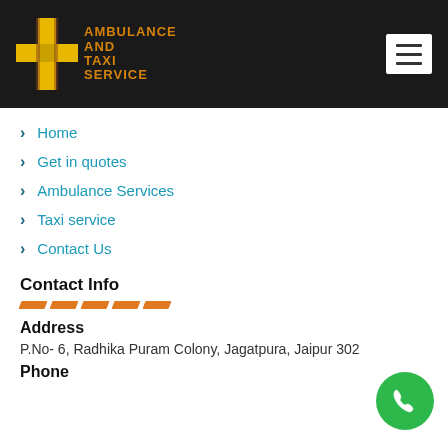[Figure (logo): Ambulance and Taxi Service logo with yellow cross/plus icon and orange text on dark background, with hamburger menu button on right]
Home
Get in quotes
Ambulance Services
Taxi service
Contact Us
Contact Info
Address
P.No- 6, Radhika Puram Colony, Jagatpura, Jaipur 302
Phone